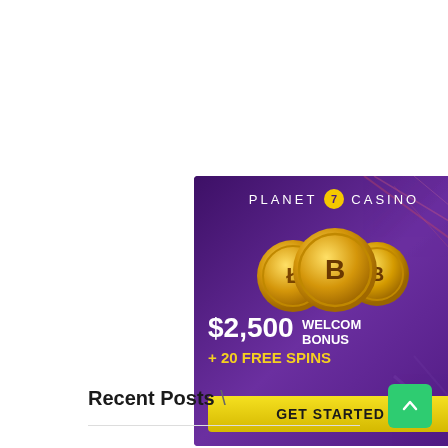[Figure (illustration): Planet 7 Casino advertisement banner on purple gradient background with three gold cryptocurrency coins, '$2,500 WELCOME BONUS + 20 FREE SPINS' text, and a yellow 'GET STARTED' button]
Recent Posts \